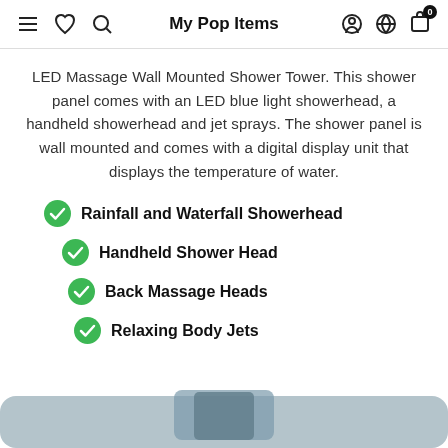My Pop Items
LED Massage Wall Mounted Shower Tower. This shower panel comes with an LED blue light showerhead, a handheld showerhead and jet sprays. The shower panel is wall mounted and comes with a digital display unit that displays the temperature of water.
Rainfall and Waterfall Showerhead
Handheld Shower Head
Back Massage Heads
Relaxing Body Jets
[Figure (photo): Bottom portion of a shower tower product image, partially visible]